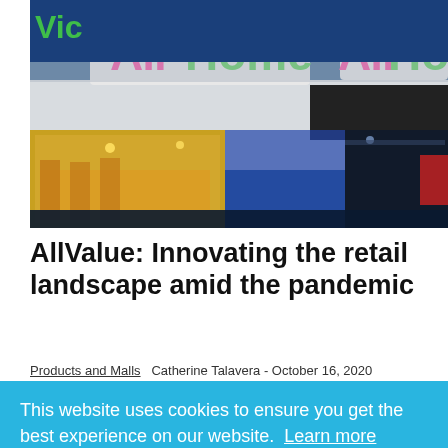[Figure (photo): Exterior photo of AllHome retail store at night, showing illuminated AllHome signage in pink/green lettering on a modern building facade, with store interior visible through glass windows displaying merchandise.]
AllValue: Innovating the retail landscape amid the pandemic
Products and Malls   Catherine Talavera - October 16, 2020
This website uses cookies to ensure you get the best experience on our website.  Learn more
Got it!